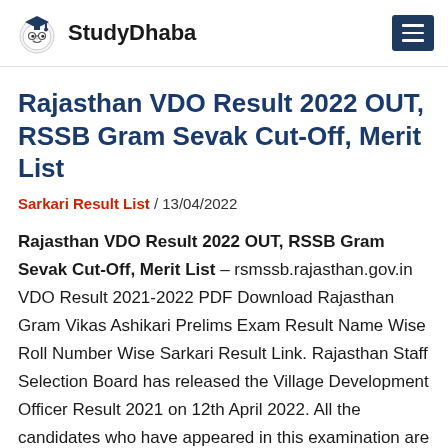StudyDhaba
Rajasthan VDO Result 2022 OUT, RSSB Gram Sevak Cut-Off, Merit List
Sarkari Result List / 13/04/2022
Rajasthan VDO Result 2022 OUT, RSSB Gram Sevak Cut-Off, Merit List – rsmssb.rajasthan.gov.in VDO Result 2021-2022 PDF Download Rajasthan Gram Vikas Ashikari Prelims Exam Result Name Wise Roll Number Wise Sarkari Result Link. Rajasthan Staff Selection Board has released the Village Development Officer Result 2021 on 12th April 2022. All the candidates who have appeared in this examination are able to check the Gram Sevak result from the official website. The examination was held in